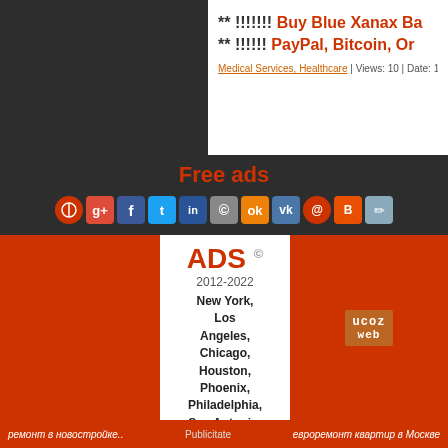** !!!!!!! Buy Blue Xanax Ba...
** !!!!!! PayPal, Bitcoin, Or...
Medical Services, Healthcare | Views: 10 | Date: 19.4...
Free ads
[Figure (infographic): Row of social media sharing icons: red circle icon, Google+, Facebook, Twitter, a blue icon, Copyleft, Odnoklassniki, VKontakte, mail, Blogger, pencil/edit icon]
Insurance  Auto  Real Estate  Medical Services  Banking services  Education  Job  Interior Design
[Figure (logo): ADS © 2012-2022 logo with city list: New York, Los Angeles, Chicago, Houston, Phoenix, Philadelphia, San Antonio, Dallas, San Diego on white background]
[Figure (logo): ucoz web badge in orange/brown]
ремонт в новостройке..    Publicitate    евроремонт квартир в Москве